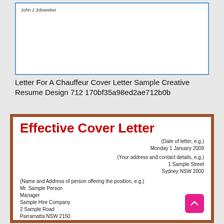[Figure (screenshot): A partial view of a document/letter with a blue border, showing the name 'John J Jobseeker' in small text at the top left corner.]
Letter For A Chauffeur Cover Letter Sample Creative Resume Design 712 170bf35a98ed2ae712b0b
[Figure (screenshot): An effective cover letter sample document with a brown/tan border. Contains a red bold title 'Effective Cover Letter', date 'Monday 1 January 2009', address '1 Sample Street Sydney NSW 2000', recipient details 'Mr. Sample Person, Manager, Sample Hire Company, 2 Sample Road, Parramatta NSW 2150', and salutation 'Dear Mr. Person,']